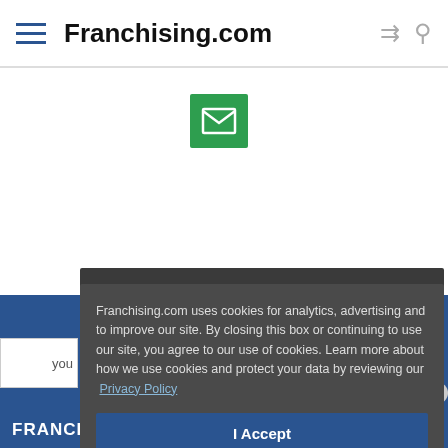Franchising.com
[Figure (screenshot): Green envelope icon button]
Franchising.com uses cookies for analytics, advertising and to improve our site. By closing this box or continuing to use our site, you agree to our use of cookies. Learn more about how we use cookies and protect your data by reviewing our Privacy Policy
I Accept
FRANCHISE
What is Franchising?